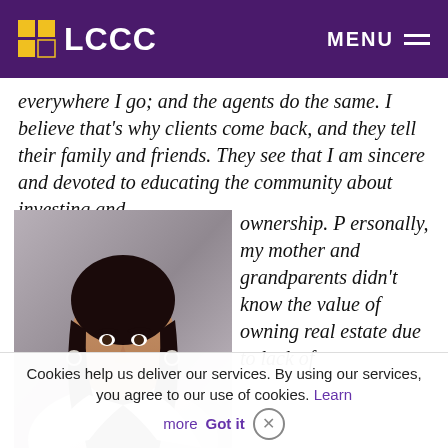LCCC | MENU
everywhere I go; and the agents do the same. I believe that's why clients come back, and they tell their family and friends. They see that I am sincere and devoted to educating the community about investing and ownership. Personally, my mother and grandparents didn't know the value of owning real estate due to lack of
[Figure (photo): Portrait photo of a young woman with long dark hair, wearing a white blazer over a black top, smiling at the camera]
Cookies help us deliver our services. By using our services, you agree to our use of cookies. Learn more Got it